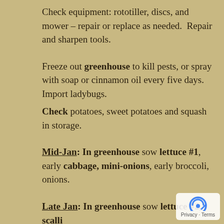Check equipment: rototiller, discs, and mower – repair or replace as needed.  Repair and sharpen tools.
Freeze out greenhouse to kill pests, or spray with soap or cinnamon oil every five days.  Import ladybugs.
Check potatoes, sweet potatoes and squash in storage.
Mid-Jan: In greenhouse sow lettuce #1, early cabbage, mini-onions, early broccoli, onions.
Late Jan: In greenhouse sow lettuce #2, scalli #1, spinach, tomatoes, peppers for hoophouse. Plant small potato onions, 4-5" apart, ½-1" deep, in